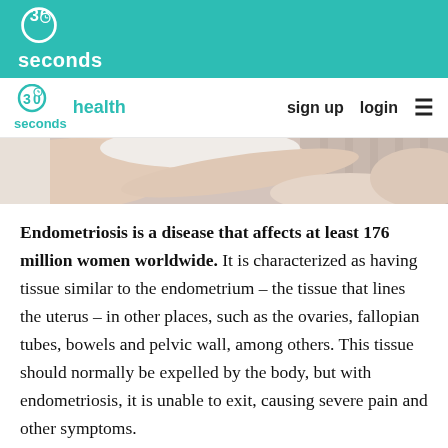30 seconds
30 seconds health | sign up | login
[Figure (photo): A person lying down, likely a woman, with arms crossed over abdomen, suggesting discomfort or pain. Striped bedding visible in background.]
Endometriosis is a disease that affects at least 176 million women worldwide. It is characterized as having tissue similar to the endometrium – the tissue that lines the uterus – in other places, such as the ovaries, fallopian tubes, bowels and pelvic wall, among others. This tissue should normally be expelled by the body, but with endometriosis, it is unable to exit, causing severe pain and other symptoms.
Endometriosis can be extremely stressful, difficult to cope with and overwhelming among other things